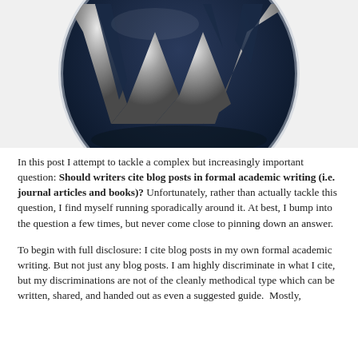[Figure (logo): WordPress logo — a large stylized 'W' letter in silver/chrome on a dark navy blue circular globe background]
In this post I attempt to tackle a complex but increasingly important question: Should writers cite blog posts in formal academic writing (i.e. journal articles and books)? Unfortunately, rather than actually tackle this question, I find myself running sporadically around it. At best, I bump into the question a few times, but never come close to pinning down an answer.
To begin with full disclosure: I cite blog posts in my own formal academic writing. But not just any blog posts. I am highly discriminate in what I cite, but my discriminations are not of the cleanly methodical type which can be written, shared, and handed out as even a suggested guide.  Mostly,